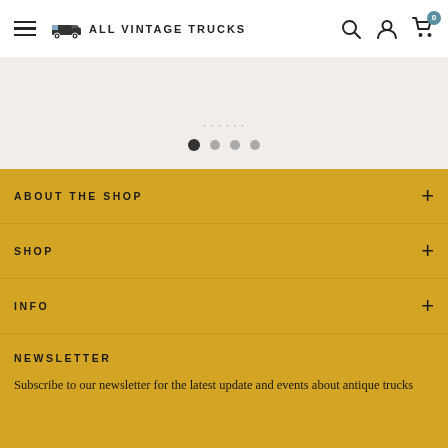ALL VINTAGE TRUCKS
[Figure (other): Pagination dots showing 4 dots, first one active/filled]
ABOUT THE SHOP
SHOP
INFO
NEWSLETTER
Subscribe to our newsletter for the latest update and events about antique trucks